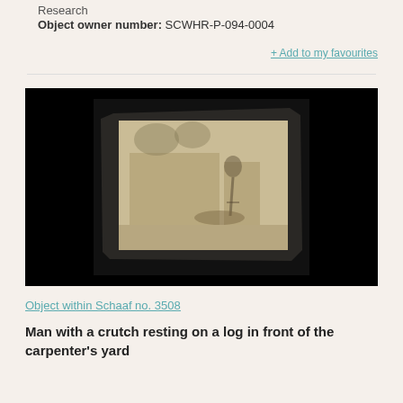Research
Object owner number: SCWHR-P-094-0004
+ Add to my favourites
[Figure (photo): An old photograph showing a man with a crutch resting on a log in front of a carpenter's yard. The photograph appears worn and aged, mounted on dark backing, displayed against a black background.]
Object within Schaaf no. 3508
Man with a crutch resting on a log in front of the carpenter's yard